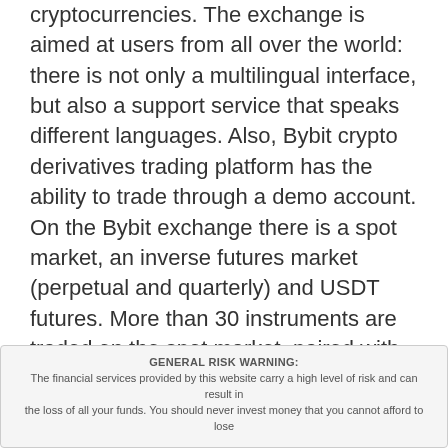cryptocurrencies. The exchange is aimed at users from all over the world: there is not only a multilingual interface, but also a support service that speaks different languages. Also, Bybit crypto derivatives trading platform has the ability to trade through a demo account. On the Bybit exchange there is a spot market, an inverse futures market (perpetual and quarterly) and USDT futures. More than 30 instruments are traded on the spot market, paired with USDT. Perpetual inverse futures are traded in cross-margin and isolated margin mode. Implemented leverage from 1x to 100x. Traders speak about the Bybit cryptocurrency derivatives trading platform mostly positively. Users from different countries declare loyal conditions for trading and high speed of execution of transactions. High order liquidity is what
GENERAL RISK WARNING: The financial services provided by this website carry a high level of risk and can result in the loss of all your funds. You should never invest money that you cannot afford to lose